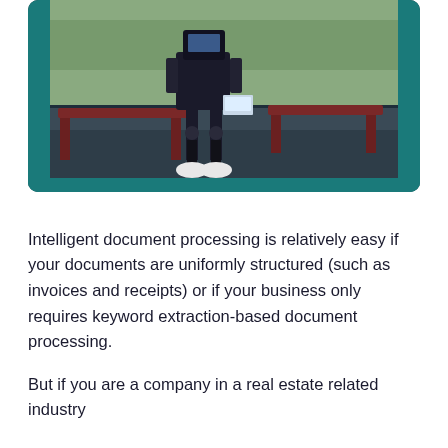[Figure (photo): A humanoid robot with black mechanical legs and white feet sitting at a wooden bench/table, viewed from the front-lower perspective. The setting appears to be indoors near a window with teal framing. The floor is dark concrete and there is outdoor greenery visible through the window.]
Intelligent document processing is relatively easy if your documents are uniformly structured (such as invoices and receipts) or if your business only requires keyword extraction-based document processing.
But if you are a company in a real estate related industry